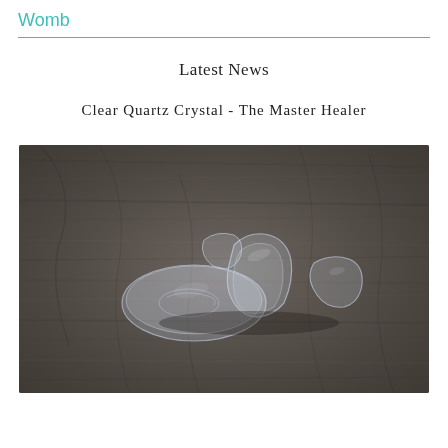Womb
Latest News
Clear Quartz Crystal - The Master Healer
[Figure (photo): Photograph of several clear quartz crystal tumbled stones resting on a dark wooden surface. The crystals are translucent/clear with slight blue tint, smooth and rounded shapes.]